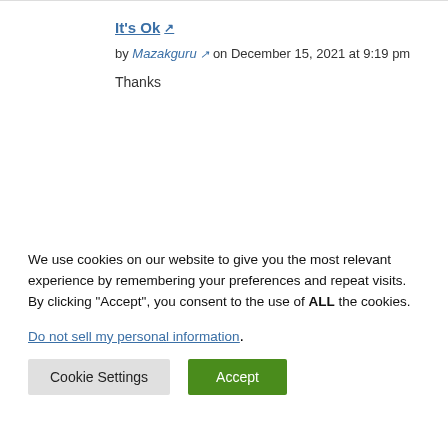It's Ok
by Mazakguru on December 15, 2021 at 9:19 pm
Thanks
We use cookies on our website to give you the most relevant experience by remembering your preferences and repeat visits. By clicking “Accept”, you consent to the use of ALL the cookies.
Do not sell my personal information.
Cookie Settings  Accept